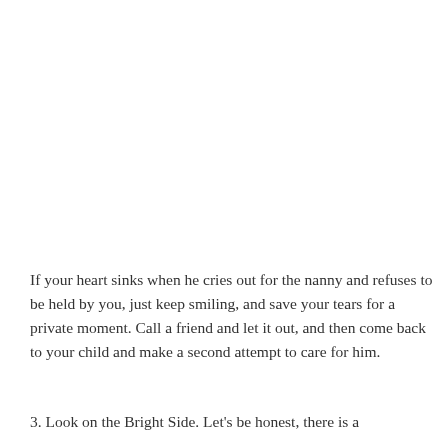If your heart sinks when he cries out for the nanny and refuses to be held by you, just keep smiling, and save your tears for a private moment. Call a friend and let it out, and then come back to your child and make a second attempt to care for him.
3. Look on the Bright Side. Let's be honest, there is a certain charm in having your child adore... But if...